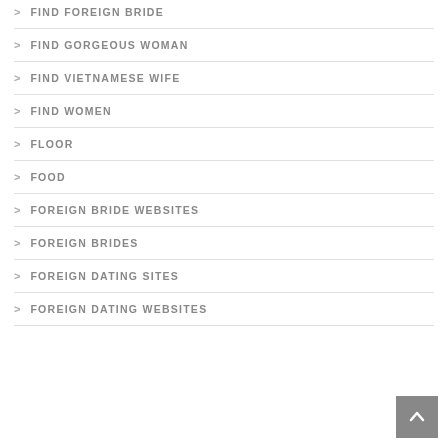FIND FOREIGN BRIDE
FIND GORGEOUS WOMAN
FIND VIETNAMESE WIFE
FIND WOMEN
FLOOR
FOOD
FOREIGN BRIDE WEBSITES
FOREIGN BRIDES
FOREIGN DATING SITES
FOREIGN DATING WEBSITES